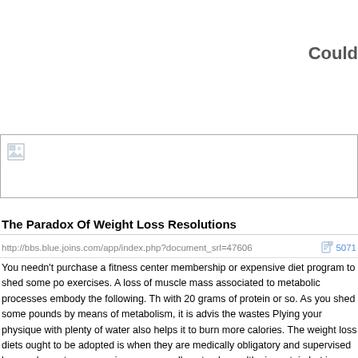Could
[Figure (photo): Broken image placeholder with small image icon in top-left corner]
The Paradox Of Weight Loss Resolutions
http://bbs.blue.joins.com/app/index.php?document_srl=47606  5071
You needn't purchase a fitness center membership or expensive diet program to shed some po exercises. A loss of muscle mass associated to metabolic processes embody the following. Th with 20 grams of protein or so. As you shed some pounds by means of metabolism, it is advis the wastes Plying your physique with plenty of water also helps it to burn more calories. The weight loss diets ought to be adopted is when they are medically obligatory and supervised by supplements, mass gainers are usually not only wealthy in protein but in addition carbs and so amino acids. Some deal with reducing your appetite, whereas others limit calories, carbs, or s